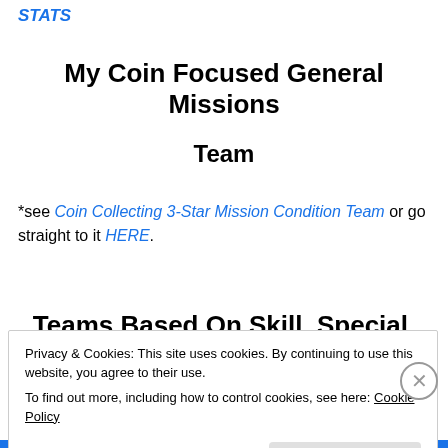STATS
My Coin Focused General Missions
Team
*see Coin Collecting 3-Star Mission Condition Team or go straight to it HERE.
Teams Based On Skill, Special, and
Privacy & Cookies: This site uses cookies. By continuing to use this website, you agree to their use.
To find out more, including how to control cookies, see here: Cookie Policy
Close and accept